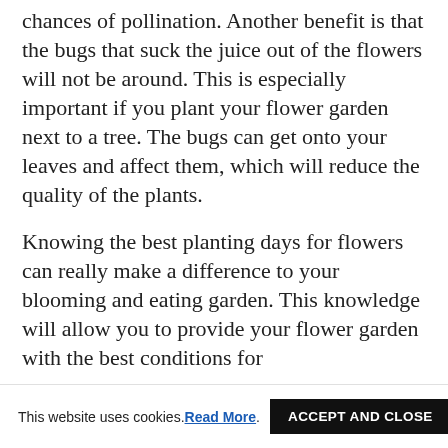chances of pollination. Another benefit is that the bugs that suck the juice out of the flowers will not be around. This is especially important if you plant your flower garden next to a tree. The bugs can get onto your leaves and affect them, which will reduce the quality of the plants.
Knowing the best planting days for flowers can really make a difference to your blooming and eating garden. This knowledge will allow you to provide your flower garden with the best conditions for
This website uses cookies. Read More. ACCEPT AND CLOSE